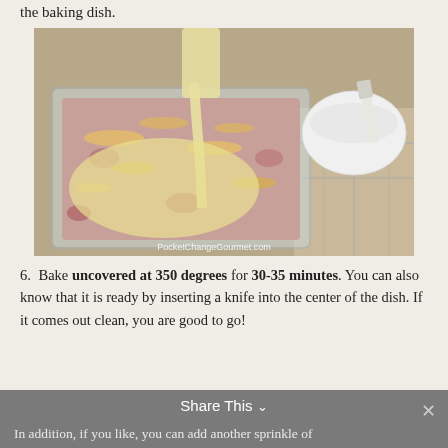the baking dish.
[Figure (photo): A glass baking dish being filled with egg/cream mixture poured from above, over a layer of ham and shredded cheese. A white bowl with a spatula is visible in the background on a tiled countertop. Watermark reads PocketChangeGourmet.com]
6. Bake uncovered at 350 degrees for 30-35 minutes. You can also know that it is ready by inserting a knife into the center of the dish. If it comes out clean, you are good to go!
In addition, if you like, you can add another sprinkle of